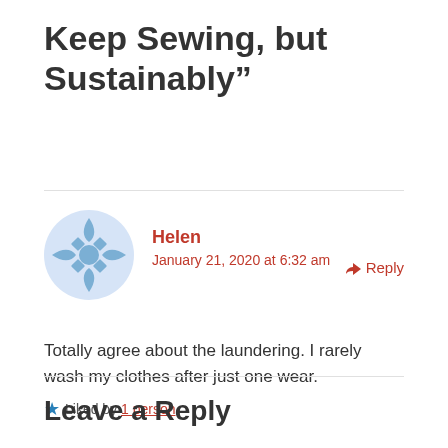Keep Sewing, but Sustainably”
Helen
January 21, 2020 at 6:32 am  Reply
Totally agree about the laundering. I rarely wash my clothes after just one wear.
Liked by 1 person
Leave a Reply